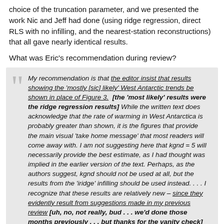choice of the truncation parameter, and we presented the work Nic and Jeff had done (using ridge regression, direct RLS with no infilling, and the nearest-station reconstructions) that all gave nearly identical results.
What was Eric's recommendation during review?
My recommendation is that the editor insist that results showing the 'mostly [sic] likely' West Antarctic trends be shown in place of Figure 3. [the 'most likely' results were the ridge regression results] While the written text does acknowledge that the rate of warming in West Antarctica is probably greater than shown, it is the figures that provide the main visual 'take home message' that most readers will come away with. I am not suggesting here that kgnd = 5 will necessarily provide the best estimate, as I had thought was implied in the earlier version of the text. Perhaps, as the authors suggest, kgnd should not be used at all, but the results from the 'iridge' infilling should be used instead. . . . I recognize that these results are relatively new – since they evidently result from suggestions made in my previous review [uh, no, not really, bud . . . we'd done those months previously . . . but thanks for the vanity check] – but this is not a compelling reason to leave this 'future work'.
(conclusion added at bottom, not readable here)